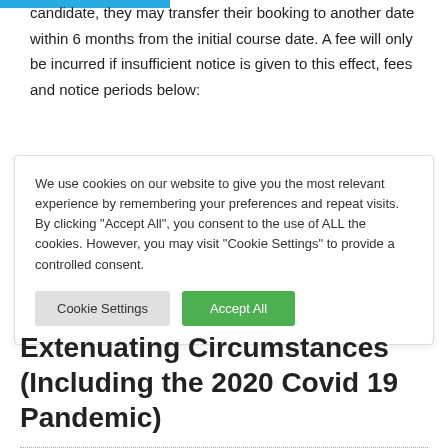candidate, they may transfer their booking to another date within 6 months from the initial course date. A fee will only be incurred if insufficient notice is given to this effect, fees and notice periods below:
We use cookies on our website to give you the most relevant experience by remembering your preferences and repeat visits. By clicking "Accept All", you consent to the use of ALL the cookies. However, you may visit "Cookie Settings" to provide a controlled consent.
Extenuating Circumstances (Including the 2020 Covid 19 Pandemic)